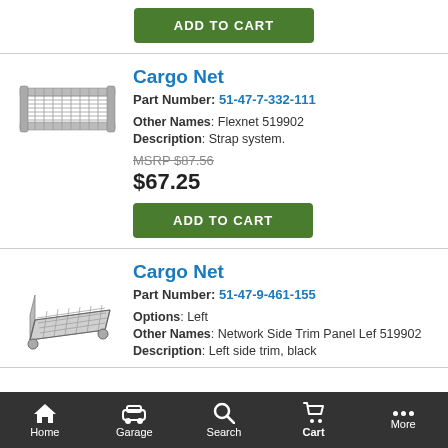[Figure (other): Green Add to Cart button at top of page]
[Figure (illustration): Sketch illustration of a cargo net (flat rectangular mesh with side rails)]
Cargo Net
Part Number: 51-47-7-332-111
Other Names: Flexnet 519902
Description: Strap system.
MSRP $87.56
$67.25
[Figure (other): Green Add to Cart button]
[Figure (illustration): Sketch illustration of a cargo net (angled mesh tray)]
Cargo Net
Part Number: 51-47-9-461-155
Options: Left
Other Names: Network Side Trim Panel Lef 519902
Description: Left side trim, black
Home  Garage  Search  Cart  More